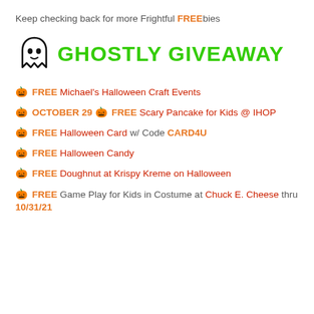Keep checking back for more Frightful FREEbies
GHOSTLY GIVEAWAY
🎃 FREE Michael's Halloween Craft Events
🎃 OCTOBER 29 🎃 FREE Scary Pancake for Kids @ IHOP
🎃 FREE Halloween Card w/ Code CARD4U
🎃 FREE Halloween Candy
🎃 FREE Doughnut at Krispy Kreme on Halloween
🎃 FREE Game Play for Kids in Costume at Chuck E. Cheese thru 10/31/21